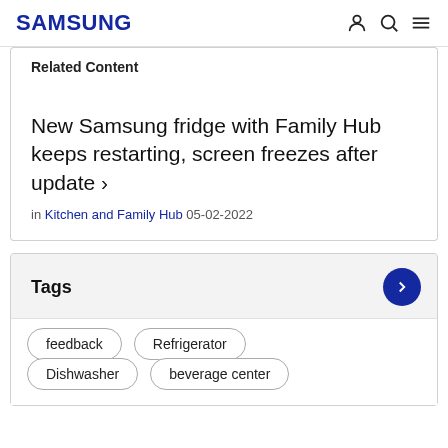SAMSUNG
Related Content
New Samsung fridge with Family Hub keeps restarting, screen freezes after update ›
in Kitchen and Family Hub 05-02-2022
Tags
feedback
Refrigerator
Dishwasher
beverage center